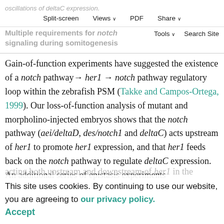oscillations of deltaC expression.
Split-screen   Views ∨   PDF   Share ∨
Multiple requirements for notch signaling during somitogenesis
Tools ∨   Search Site
Gain-of-function experiments have suggested the existence of a notch pathway → her1 → notch pathway regulatory loop within the zebrafish PSM (Takke and Campos-Ortega, 1999). Our loss-of-function analysis of mutant and morpholino-injected embryos shows that the notch pathway (aei/deltaD, des/notch1 and deltaC) acts upstream of her1 to promote her1 expression, and that her1 feeds back on the notch pathway to regulate deltaC expression. An additional series of epistasis experiments
This site uses cookies. By continuing to use our website, you are agreeing to our privacy policy.
Accept
acting both upstream and downstream of her1 in the